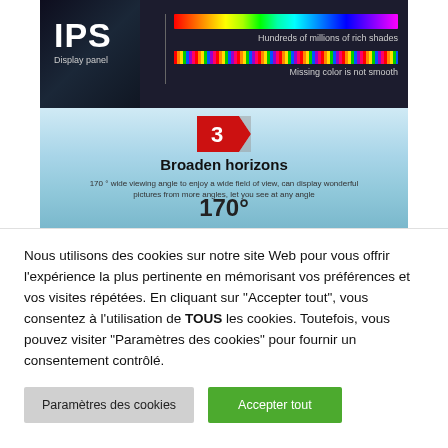[Figure (illustration): IPS display panel advertisement showing rainbow color bars with text 'Hundreds of millions of rich shades' and 'Missing color is not smooth', followed by a section showing '3 Broaden horizons' with text about 170° wide viewing angle and a landscape background showing '170°']
Nous utilisons des cookies sur notre site Web pour vous offrir l'expérience la plus pertinente en mémorisant vos préférences et vos visites répétées. En cliquant sur "Accepter tout", vous consentez à l'utilisation de TOUS les cookies. Toutefois, vous pouvez visiter "Paramètres des cookies" pour fournir un consentement contrôlé.